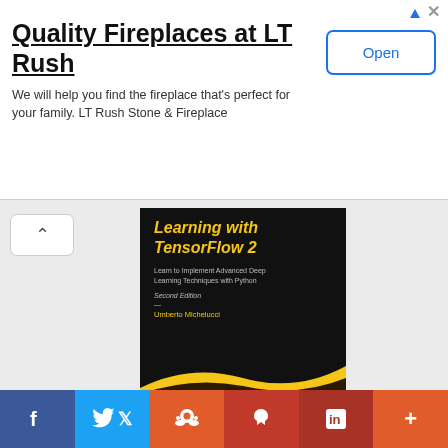[Figure (screenshot): Advertisement banner for LT Rush fireplace company with title 'Quality Fireplaces at LT Rush', description text, and an 'Open' button]
[Figure (photo): Book cover of 'Applied Deep Learning with TensorFlow 2, 2nd Edition' by Umberto Michelucci, published by Apress, with yellow title text on black background and yellow wave graphic]
Applied Deep Learning with TensorFlow 2, 2nd Edition
[Figure (other): Five empty star rating icons]
by Umberto Michelucci
Understand how neural networks work and learn how to
[Figure (other): Social sharing bar with Facebook, Twitter, Reddit, Pinterest, LinkedIn, and More buttons]